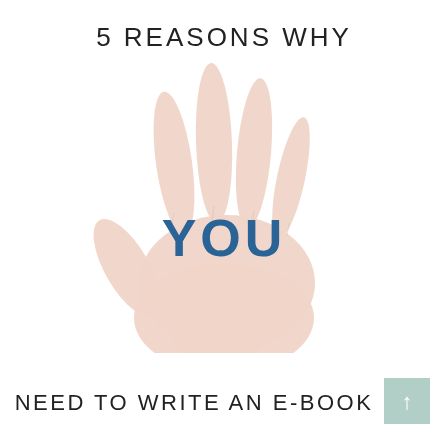5 REASONS WHY
[Figure (illustration): A child's open hand/palm with four fingers extended upward, shown from the front, soft skin-tone, white background. The word YOU is overlaid in large bold blue text across the palm.]
NEED TO WRITE AN E-BOOK